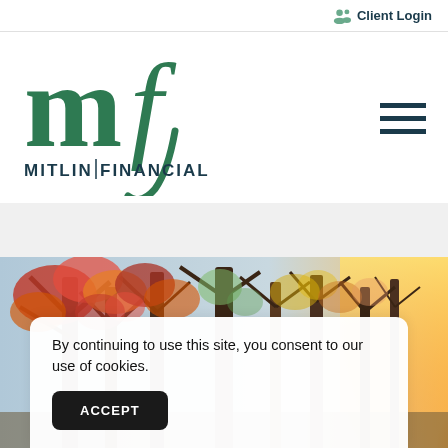Client Login
[Figure (logo): Mitlin Financial logo with stylized 'mf' in dark green and text 'MITLIN FINANCIAL' below]
[Figure (photo): Autumn forest scene with colorful red and orange leaves on trees, sunlight on the right side]
By continuing to use this site, you consent to our use of cookies.
ACCEPT